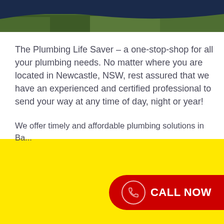[Figure (photo): Header image showing dark navy blue and green foliage/grass landscape at top of page]
The Plumbing Life Saver – a one-stop-shop for all your plumbing needs. No matter where you are located in Newcastle, NSW, rest assured that we have an experienced and certified professional to send your way at any time of day, night or year!
We offer timely and affordable plumbing solutions in Ba...
[Figure (other): Red CALL NOW button with phone icon on yellow background, bottom right]